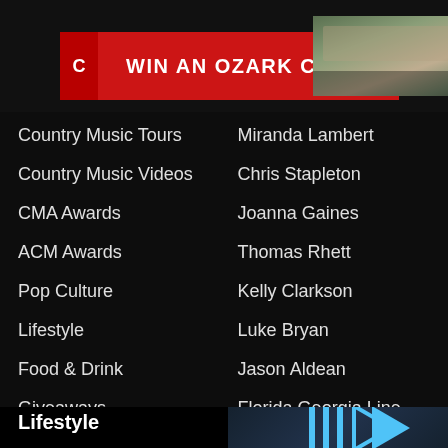[Figure (screenshot): Advertisement banner: red button with text 'WIN AN OZARK CABIN' with a logo on the left and a cabin photo on the right]
Country Music Tours
Miranda Lambert
Country Music Videos
Chris Stapleton
CMA Awards
Joanna Gaines
ACM Awards
Thomas Rhett
Pop Culture
Kelly Clarkson
Lifestyle
Luke Bryan
Food & Drink
Jason Aldean
Giveaways
Florida Georgia Line
Keith Urban
Lifestyle
Fashion